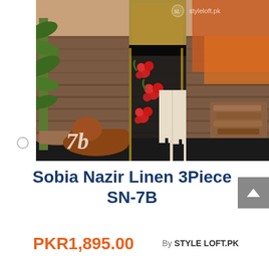[Figure (photo): Fashion product photo: a woman wearing a dark floral linen outfit with red embroidered flowers, standing in a rustic outdoor setting with plants and firewood. Watermark 'styleloft.pk' visible on image.]
Sobia Nazir Linen 3Piece SN-7B
PKR1,895.00
By STYLE LOFT.PK